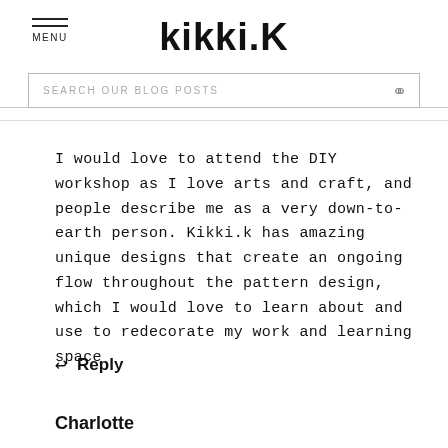kikki.K
I would love to attend the DIY workshop as I love arts and craft, and people describe me as a very down-to-earth person. Kikki.k has amazing unique designs that create an ongoing flow throughout the pattern design, which I would love to learn about and use to redecorate my work and learning space
Reply
Charlotte